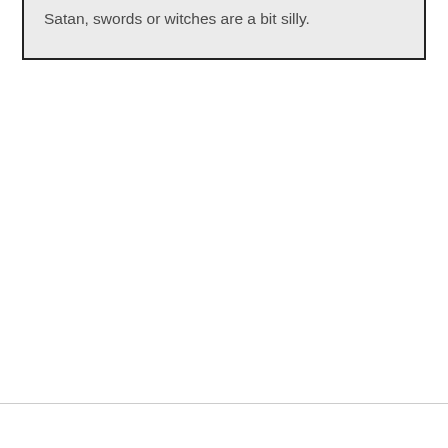Satan, swords or witches are a bit silly.